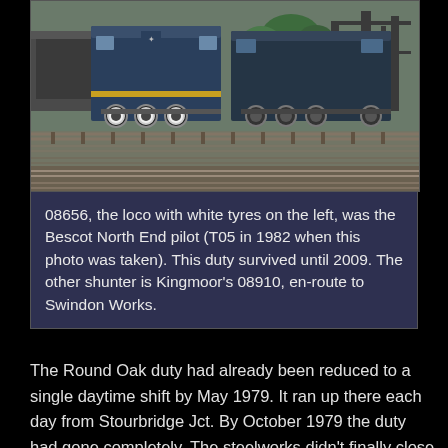[Figure (photo): Photograph of two blue British Rail diesel shunter locomotives on a railway yard. The locomotive on the left has white tyres. Multiple tracks are visible in the foreground, with industrial structures in the background.]
08656, the loco with white tyres on the left, was the Bescot North End pilot (T05 in 1982 when this photo was taken). This duty survived until 2009. The other shunter is Kingmoor's 08910, en-route to Swindon Works.
The Round Oak duty had already been reduced to a single daytime shift by May 1979. It ran up there each day from Stourbridge Jct. By October 1979 the duty had gone completely. The steelworks didn't finally close until December 1982, but had been running down in the preceding years.